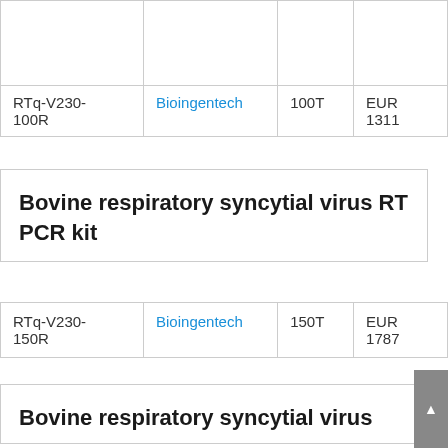| RTq-V230-100R | Bioingentech | 100T | EUR 1311 |
Bovine respiratory syncytial virus RT PCR kit
| RTq-V230-150R | Bioingentech | 150T | EUR 1787 |
Bovine respiratory syncytial virus